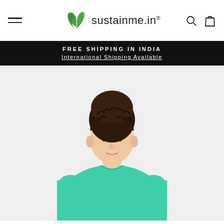sustainme.in
FREE SHIPPING IN INDIA
International Shipping Available
[Figure (photo): A young woman with curly hair in a high bun, wearing a mint/teal green V-neck short-sleeve t-shirt, photographed against a white background.]